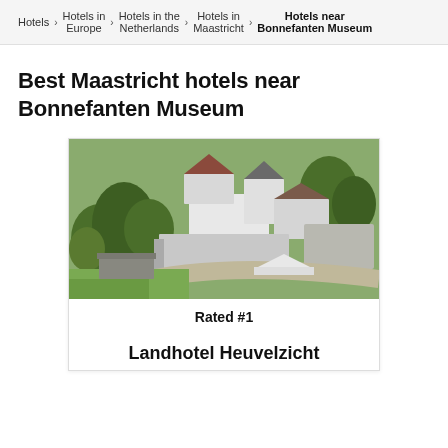Hotels > Hotels in Europe > Hotels in the Netherlands > Hotels in Maastricht > Hotels near Bonnefanten Museum
Best Maastricht hotels near Bonnefanten Museum
[Figure (photo): Aerial photo of Landhotel Heuvelzicht, a country hotel surrounded by trees and green landscape]
Rated #1
Landhotel Heuvelzicht